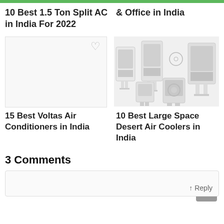10 Best 1.5 Ton Split AC in India For 2022
& Office in India
[Figure (photo): Empty white card with heart/wishlist icon in top right corner]
[Figure (photo): Multiple desert air coolers arranged in a collage — various sizes and models, white/grey colors]
15 Best Voltas Air Conditioners in India
10 Best Large Space Desert Air Coolers in India
3 Comments
Reply